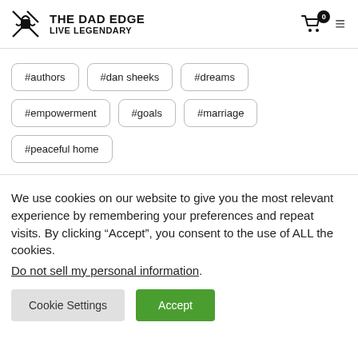THE DAD EDGE LIVE LEGENDARY
#authors
#dan sheeks
#dreams
#empowerment
#goals
#marriage
#peaceful home
We use cookies on our website to give you the most relevant experience by remembering your preferences and repeat visits. By clicking “Accept”, you consent to the use of ALL the cookies. Do not sell my personal information.